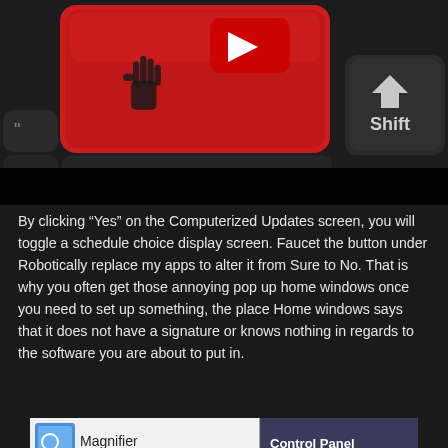[Figure (photo): Close-up photo of a keyboard with a large red key featuring a YouTube play button icon and a hand cursor icon. A Shift key is visible to the right. The bottom portion shows a black bar (possibly a video player scrubber).]
By clicking “Yes” on the Computerized Updates screen, you will toggle a schedule choice display screen. Faucet the button under Robotically replace my apps to alter it from Sure to No. That is why you often get those annoying pop up home windows once you need to set up something, the place Home windows says that it does not have a signature or knows nothing in regards to the software you are about to put in.
[Figure (screenshot): Screenshot of a Windows Start Menu showing Magnifier and Solitaire apps on the left, and Control Panel, Devices and Printers, Default Programs on the right. A large red arrow points to the Control Panel option.]